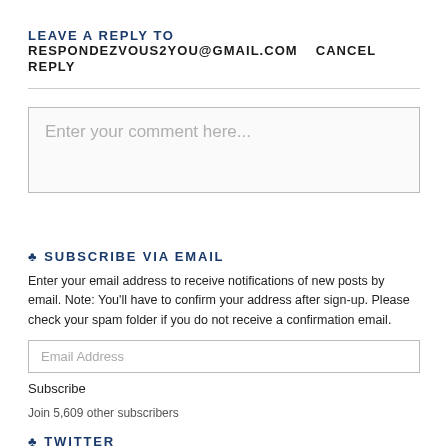LEAVE A REPLY TO RESPONDEZVOUS2YOU@GMAIL.COM   CANCEL REPLY
Enter your comment here...
♣ SUBSCRIBE VIA EMAIL
Enter your email address to receive notifications of new posts by email. Note: You'll have to confirm your address after sign-up. Please check your spam folder if you do not receive a confirmation email.
Email Address
Subscribe
Join 5,609 other subscribers
♣ TWITTER